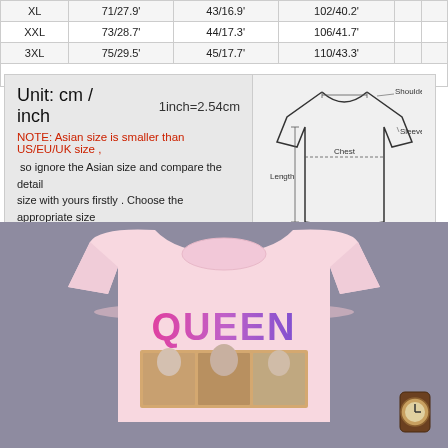| Size | Length cm/inch | Shoulder cm/inch | Chest cm/inch |
| --- | --- | --- | --- |
| XL | 71/27.9' | 43/16.9' | 102/40.2' |
| XXL | 73/28.7' | 44/17.3' | 106/41.7' |
| 3XL | 75/29.5' | 45/17.7' | 110/43.3' |
Unit: cm / inch   1inch=2.54cm
NOTE: Asian size is smaller than US/EU/UK size , so ignore the Asian size and compare the detail size with yours firstly . Choose the appropriate size By US Size . Make sure these actual size will fit you before making a order.
[Figure (illustration): T-shirt diagram with labeled measurement points: Shoulder, Sleeve, Chest, Length]
[Figure (photo): Photo of a pink t-shirt with QUEEN graphic print, laid on a gray surface with a watch visible]